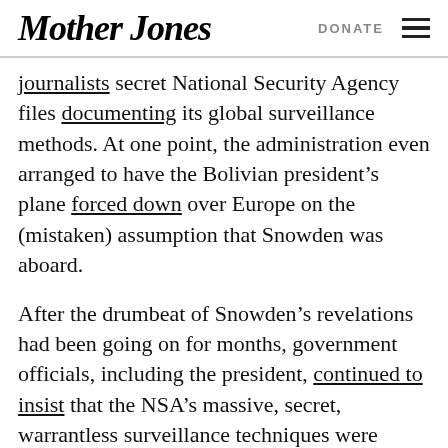Mother Jones | DONATE
journalists secret National Security Agency files documenting its global surveillance methods. At one point, the administration even arranged to have the Bolivian president’s plane forced down over Europe on the (mistaken) assumption that Snowden was aboard.
After the drumbeat of Snowden’s revelations had been going on for months, government officials, including the president, continued to insist that the NSA’s massive, secret, warrantless surveillance techniques were crucial to American safety. (This was denied in no uncertain terms by a panel of five prominent national security experts Obama